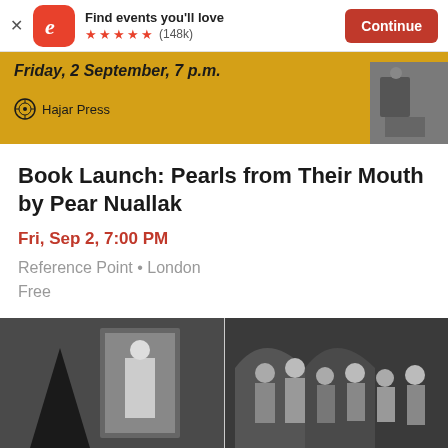[Figure (screenshot): Eventbrite app banner with logo, 'Find events you'll love', star rating (148k), and Continue button]
[Figure (screenshot): Event promotional banner with yellow background showing 'Friday, 2 September, 7 p.m.' and Hajar Press logo]
Book Launch: Pearls from Their Mouth by Pear Nuallak
Fri, Sep 2, 7:00 PM
Reference Point • London
Free
[Figure (photo): Black and white photo on left showing a dark pointed shape and a person in a doorway]
[Figure (photo): Black and white photo on right showing a group of people in costume or historical dress]